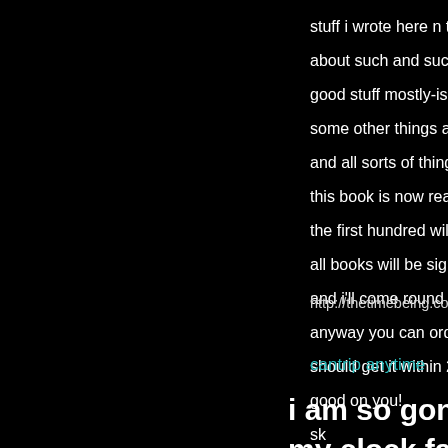stuff i wrote here n there on this and that
about such and such
good stuff mostly-ish
some other things about erskine
and all sorts of things
this book is now ready for order
the first hundred will get a copy of my pamphlet eden t
all books will be signed and if needed dedicated…
and i'll come round yer house and cook yer dinner and
anyway you can order uncollected right now if you wa
should get it within 2 weeks one would think
good on you!
sk
http://thetimebeing.com/shop/books/uncollected-poetry
cantrip anytime
i am so gone i am back knocked s
my clock face with its tic so afraid
me let me sleep for awhile let this